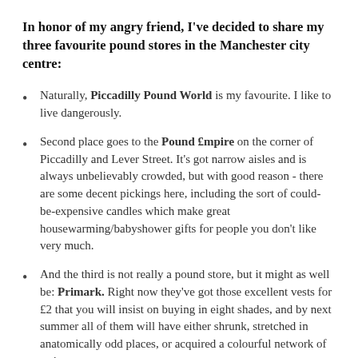In honor of my angry friend, I've decided to share my three favourite pound stores in the Manchester city centre:
Naturally, Piccadilly Pound World is my favourite. I like to live dangerously.
Second place goes to the Pound £mpire on the corner of Piccadilly and Lever Street. It's got narrow aisles and is always unbelievably crowded, but with good reason - there are some decent pickings here, including the sort of could-be-expensive candles which make great housewarming/babyshower gifts for people you don't like very much.
And the third is not really a pound store, but it might as well be: Primark. Right now they've got those excellent vests for £2 that you will insist on buying in eight shades, and by next summer all of them will have either shrunk, stretched in anatomically odd places, or acquired a colourful network of stains across